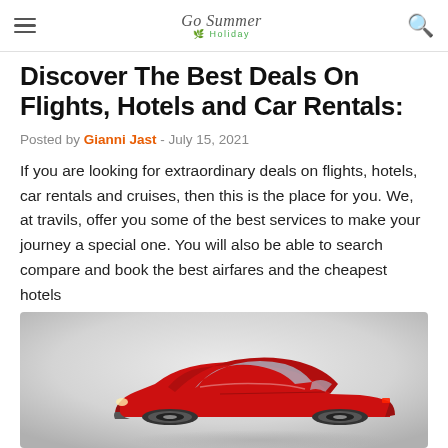Go Summer Holiday
Discover The Best Deals On Flights, Hotels and Car Rentals:
Posted by Gianni Jast - July 15, 2021
If you are looking for extraordinary deals on flights, hotels, car rentals and cruises, then this is the place for you. We, at travils, offer you some of the best services to make your journey a special one. You will also be able to search compare and book the best airfares and the cheapest hotels
[Figure (photo): A red sports car photographed against a light gray gradient background]